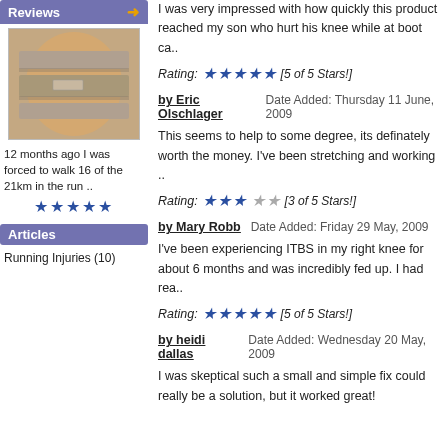Reviews
[Figure (photo): Photo of a knee brace/strap worn on a leg]
12 months ago I was forced to walk 16 of the 21km in the run ..
★★★★★
Articles
Running Injuries (10)
I was very impressed with how quickly this product reached my son who hurt his knee while at boot ca..
Rating: ★★★★★ [5 of 5 Stars!]
by Eric Olschlager    Date Added: Thursday 11 June, 2009
This seems to help to some degree, its definately worth the money. I've been stretching and working ..
Rating: ★★★☆☆ [3 of 5 Stars!]
by Mary Robb    Date Added: Friday 29 May, 2009
I've been experiencing ITBS in my right knee for about 6 months and was incredibly fed up. I had rea..
Rating: ★★★★★ [5 of 5 Stars!]
by heidi dallas    Date Added: Wednesday 20 May, 2009
I was skeptical such a small and simple fix could really be a solution, but it worked great!